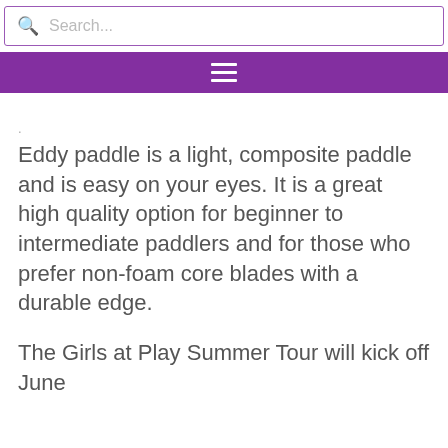Search...
Eddy paddle is a light, composite paddle and is easy on your eyes. It is a great high quality option for beginner to intermediate paddlers and for those who prefer non-foam core blades with a durable edge.
The Girls at Play Summer Tour will kick off June